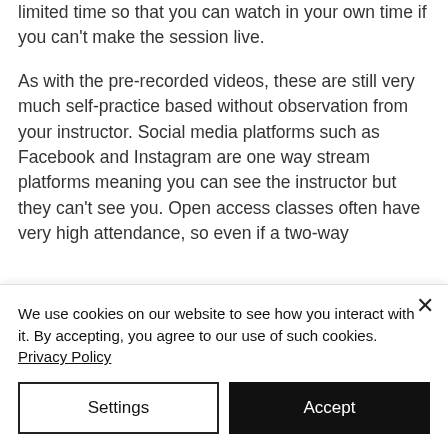limited time so that you can watch in your own time if you can't make the session live.
As with the pre-recorded videos, these are still very much self-practice based without observation from your instructor. Social media platforms such as Facebook and Instagram are one way stream platforms meaning you can see the instructor but they can't see you. Open access classes often have very high attendance, so even if a two-way
We use cookies on our website to see how you interact with it. By accepting, you agree to our use of such cookies. Privacy Policy